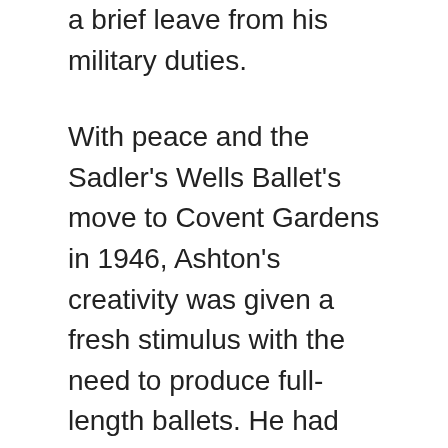a brief leave from his military duties.
With peace and the Sadler's Wells Ballet's move to Covent Gardens in 1946, Ashton's creativity was given a fresh stimulus with the need to produce full-length ballets. He had already made his Covent Garden debut with Symphonic Variations in 1946. He made two more short ballets, namely Les Sirenes in 1946 and Scenes de Ballet in 1948 plust a work for the Sadler's Wells Theatre Ballet in 1947 called Valses Nobles et Sentimentales.
In 1948 he created Don Juan, following it with his first long work – Cinderella.
In 1949 he did Le Reve de Leonor for Roland Petit and the following year his first ballet for the New